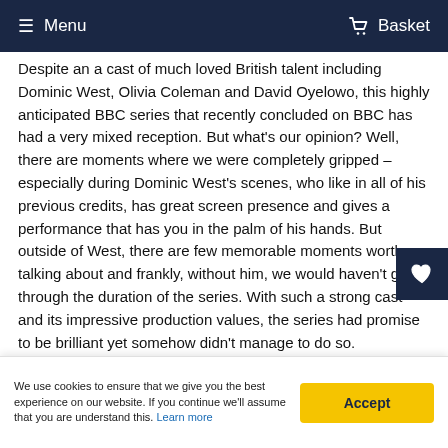≡ Menu   🛒 Basket
Despite an a cast of much loved British talent including Dominic West, Olivia Coleman and David Oyelowo, this highly anticipated BBC series that recently concluded on BBC has had a very mixed reception. But what's our opinion? Well, there are moments where we were completely gripped – especially during Dominic West's scenes, who like in all of his previous credits, has great screen presence and gives a performance that has you in the palm of his hands. But outside of West, there are few memorable moments worth talking about and frankly, without him, we would haven't got through the duration of the series. With such a strong cast and its impressive production values, the series had promise to be brilliant yet somehow didn't manage to do so.
We use cookies to ensure that we give you the best experience on our website. If you continue we'll assume that you are understand this. Learn more